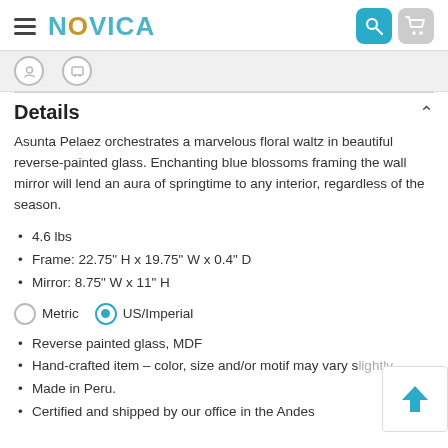NOVICA
Details
Asunta Pelaez orchestrates a marvelous floral waltz in beautiful reverse-painted glass. Enchanting blue blossoms framing the wall mirror will lend an aura of springtime to any interior, regardless of the season.
4.6 lbs
Frame: 22.75" H x 19.75" W x 0.4" D
Mirror: 8.75" W x 11" H
Metric   US/Imperial
Reverse painted glass, MDF
Hand-crafted item – color, size and/or motif may vary slightly
Made in Peru.
Certified and shipped by our office in the Andes